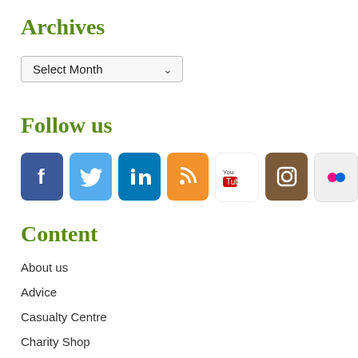Archives
Select Month
Follow us
[Figure (other): Row of social media icons: Facebook (blue), Twitter (light blue), LinkedIn (dark blue), RSS (orange), YouTube (white/red), Instagram (brown), Flickr (light gray with dots)]
Content
About us
Advice
Casualty Centre
Charity Shop
Contact us
Donate